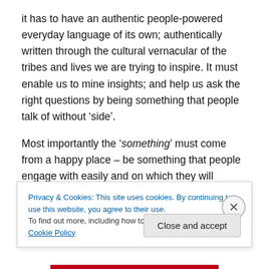it has to have an authentic people-powered everyday language of its own; authentically written through the cultural vernacular of the tribes and lives we are trying to inspire. It must enable us to mine insights; and help us ask the right questions by being something that people talk of without 'side'.
Most importantly the 'something' must come from a happy place – be something that people engage with easily and on which they will happily venture an reasoned opinion.
It has to be something people look forwards to, love...
Privacy & Cookies: This site uses cookies. By continuing to use this website, you agree to their use.
To find out more, including how to control cookies, see here: Cookie Policy